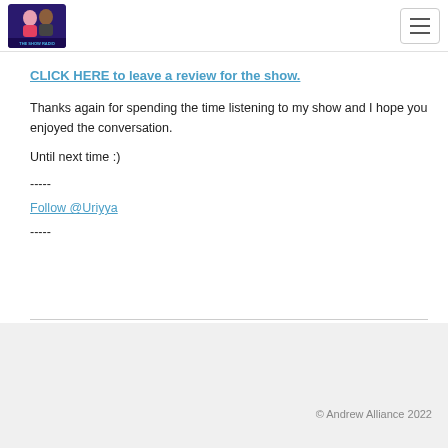THE SHOW RADIO — navigation header with logo and hamburger menu
CLICK HERE to leave a review for the show.
Thanks again for spending the time listening to my show and I hope you enjoyed the conversation.
Until next time :)
-----
Follow @Uriyya
-----
© Andrew Alliance 2022